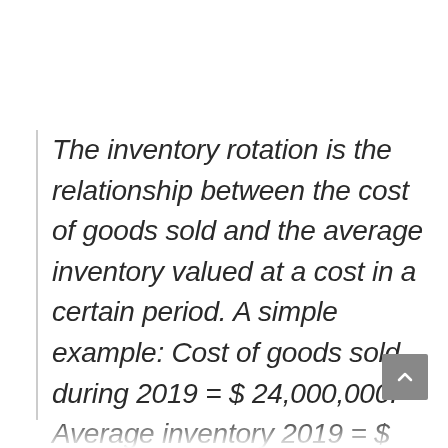The inventory rotation is the relationship between the cost of goods sold and the average inventory valued at a cost in a certain period. A simple example: Cost of goods sold during 2019 = $ 24,000,000. Average inventory 2019 = $ 6,000,000. Then, the turnover of the inventory in 2019